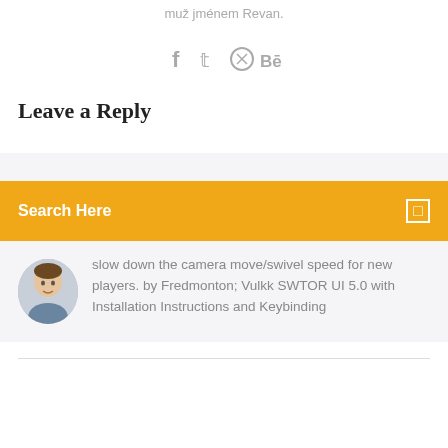muž jménem Revan.
[Figure (infographic): Social media icons: Facebook (f), Twitter (bird), a circular icon, and Behance (Bē) displayed in a row, grey colored]
[Figure (screenshot): Orange search bar with text 'Search Here' on the left and a small square icon on the right, with a light grey background strip above it]
slow down the camera move/swivel speed for new players. by Fredmonton; Vulkk SWTOR UI 5.0 with Installation Instructions and Keybinding
Leave a Reply